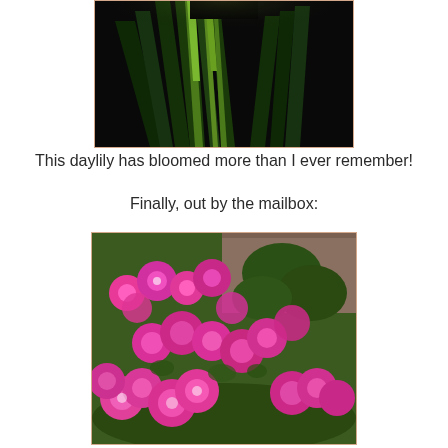[Figure (photo): Photo of a daylily plant with long green leaves and stems, partially lit, against a dark background. A person in black clothing is partially visible at the top.]
This daylily has bloomed more than I ever remember!
Finally, out by the mailbox:
[Figure (photo): Photo of bright pink phlox flowers blooming abundantly in a garden near a mailbox, with green foliage and a wooden fence visible in the background.]